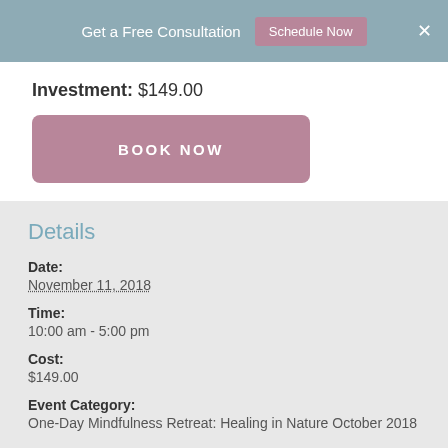Get a Free Consultation  Schedule Now  ×
Investment: $149.00
BOOK NOW
Details
Date:
November 11, 2018
Time:
10:00 am - 5:00 pm
Cost:
$149.00
Event Category:
One-Day Mindfulness Retreat: Healing in Nature October 2018
Venue
New Mindful Life